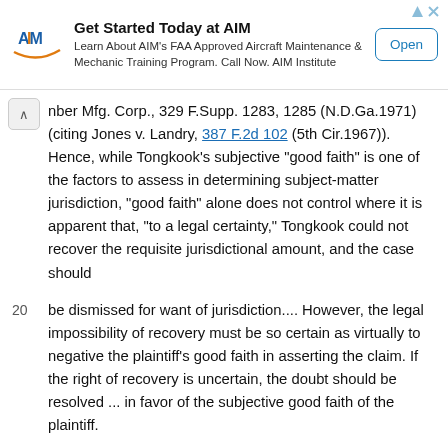[Figure (other): Advertisement banner for AIM Institute - Get Started Today at AIM, Learn About AIM's FAA Approved Aircraft Maintenance & Mechanic Training Program. Call Now. AIM Institute. Open button.]
nber Mfg. Corp., 329 F.Supp. 1283, 1285 (N.D.Ga.1971) (citing Jones v. Landry, 387 F.2d 102 (5th Cir.1967)). Hence, while Tongkook's subjective "good faith" is one of the factors to assess in determining subject-matter jurisdiction, "good faith" alone does not control where it is apparent that, "to a legal certainty," Tongkook could not recover the requisite jurisdictional amount, and the case should
20 be dismissed for want of jurisdiction.... However, the legal impossibility of recovery must be so certain as virtually to negative the plaintiff's good faith in asserting the claim. If the right of recovery is uncertain, the doubt should be resolved ... in favor of the subjective good faith of the plaintiff.
21 Patton, 240 F.2d at 426; see also Wiggins v. North Am. Equitable Life Assurance Co., 644 F.2d 1014, 1017 (4th Cir.1981) (quoting Patton, supra at 426); Maryland Nat'l Bank v. Nolan, 666 F.Supp. 797 (D.Md.1987) (court lacked diversity jurisdiction when plaintiff